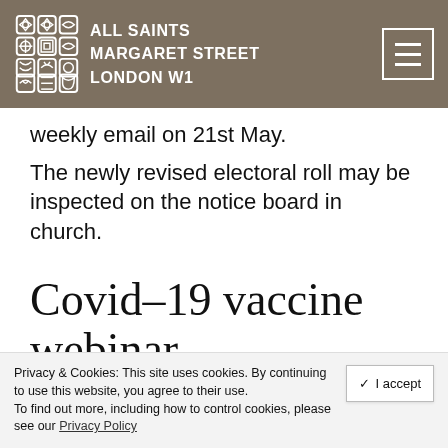ALL SAINTS MARGARET STREET LONDON W1
weekly email on 21st May.
The newly revised electoral roll may be inspected on the notice board in church.
Covid–19 vaccine webinar
A COVID-19 vaccine confidence webinar has
Privacy & Cookies: This site uses cookies. By continuing to use this website, you agree to their use. To find out more, including how to control cookies, please see our Privacy Policy